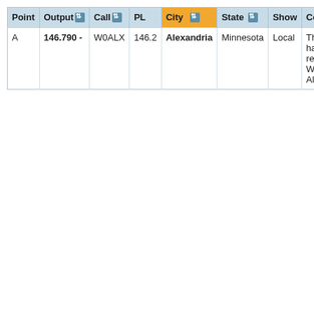| Point | Output | Call | PL | City | State | Show | Comments |
| --- | --- | --- | --- | --- | --- | --- | --- |
| A | 146.790 - | W0ALX | 146.2 | Alexandria | Minnesota | Local | The club has two repeaters W0ALX Alexandri... |